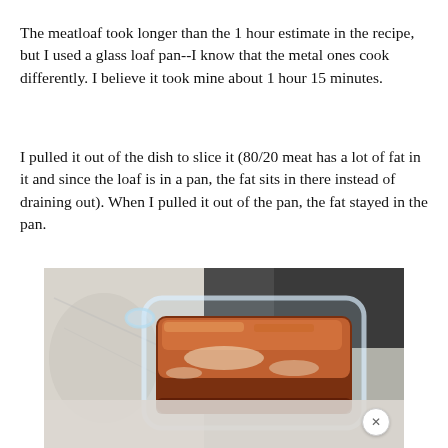The meatloaf took longer than the 1 hour estimate in the recipe, but I used a glass loaf pan--I know that the metal ones cook differently. I believe it took mine about 1 hour 15 minutes.
I pulled it out of the dish to slice it (80/20 meat has a lot of fat in it and since the loaf is in a pan, the fat sits in there instead of draining out). When I pulled it out of the pan, the fat stayed in the pan.
[Figure (photo): A glass loaf pan containing a cooked meatloaf with a glazed/browned top, sitting on a stovetop. The photo shows the meatloaf from an angle above, with the glass dish visible and a marble countertop in the background.]